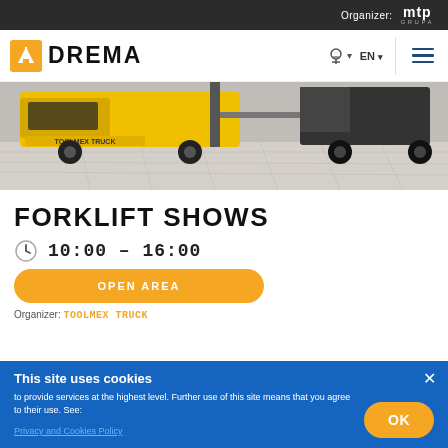Organizer: mtp GRUPA
[Figure (logo): DREMA logo with orange tree icon and bold black text]
[Figure (photo): Yellow Toolmex Truck forklift in outdoor area]
FORKLIFT SHOWS
10:00 - 16:00
OPEN AREA
Organizer: TOOLMEX TRUCK
This site uses cookies
to provide services at the highest level. Further use of this site means that you agree to their use. See: Privacy and Cookies Policy